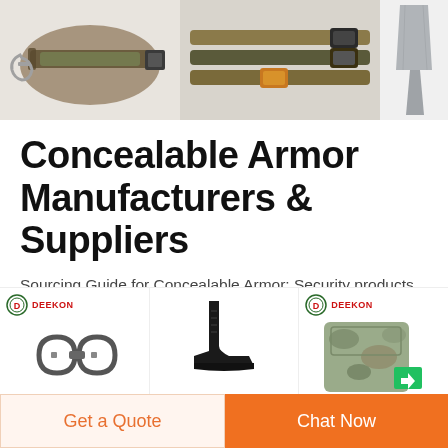[Figure (photo): Top row of product images: tactical belt with carabiner clip, multiple tactical belts with buckles, gray trousers]
Concealable Armor Manufacturers & Suppliers
Sourcing Guide for Concealable Armor: Security products and security solutions keep people safe where they work and live. We are a premier online security products industry direct
[Figure (photo): Bottom product images row: Deekon branded handcuffs, black military boot, Deekon branded camouflage backpack with green tag]